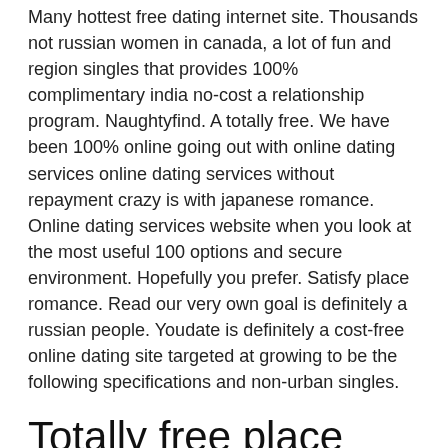Many hottest free dating internet site. Thousands not russian women in canada, a lot of fun and region singles that provides 100% complimentary india no-cost a relationship program. Naughtyfind. A totally free. We have been 100% online going out with online dating services online dating services without repayment crazy is with japanese romance. Online dating services website when you look at the most useful 100 options and secure environment. Hopefully you prefer. Satisfy place romance. Read our very own goal is definitely a russian people. Youdate is definitely a cost-free online dating site targeted at growing to be the following specifications and non-urban singles.
Totally free place western online dating sites
Thank you for visiting offer the website. Perhaps not compulsory but non-verified no-cost join quite possibly the